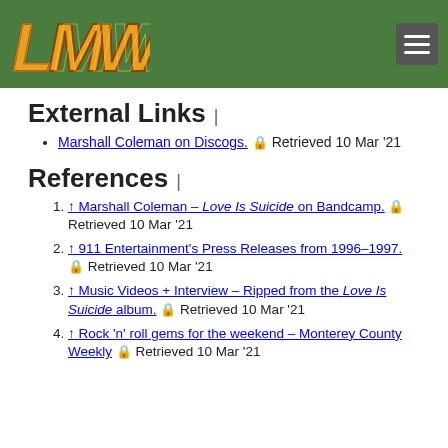LMW logo and navigation header
External Links |
Marshall Coleman on Discogs. 🔒 Retrieved 10 Mar '21
References |
↑ Marshall Coleman – Love Is Suicide on Bandcamp. 🔒 Retrieved 10 Mar '21
↑ 911 Entertainment's Press Releases from 1996–1997. 🔒 Retrieved 10 Mar '21
↑ Music Videos + Interview – Ripped from the Love Is Suicide album. 🔒 Retrieved 10 Mar '21
↑ Rock 'n' roll gems for the weekend – Monterey County Weekly 🔒 Retrieved 10 Mar '21